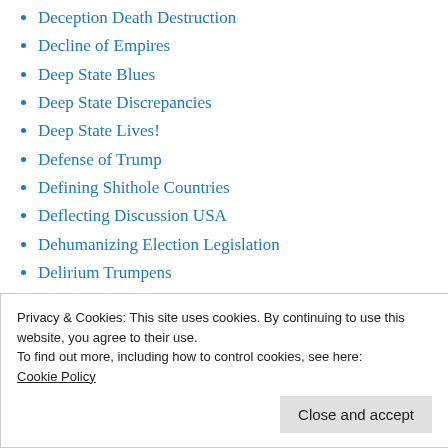Deception Death Destruction
Decline of Empires
Deep State Blues
Deep State Discrepancies
Deep State Lives!
Defense of Trump
Defining Shithole Countries
Deflecting Discussion USA
Dehumanizing Election Legislation
Delirium Trumpens
Privacy & Cookies: This site uses cookies. By continuing to use this website, you agree to their use.
To find out more, including how to control cookies, see here: Cookie Policy
Close and accept